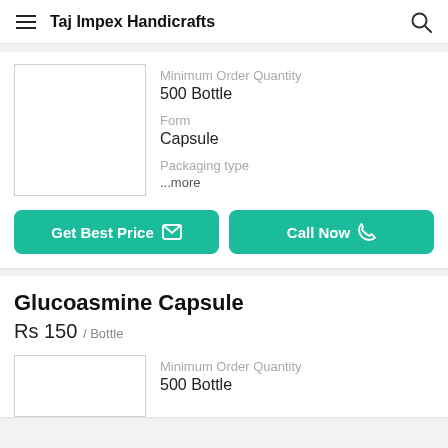Taj Impex Handicrafts
Minimum Order Quantity
500 Bottle

Form
Capsule

Packaging type
...more
Get Best Price   Call Now
Glucoasmine Capsule
Rs 150 / Bottle
Minimum Order Quantity
500 Bottle